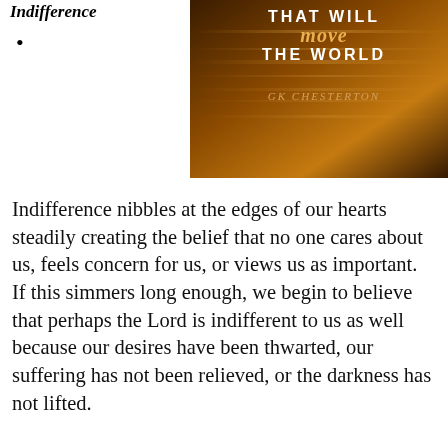Indifference
•
[Figure (photo): Book cover image with text 'THAT WILL move THE WORLD' and 'GK CHESTERTON' on a dark amber/brown background with streaks of light]
Indifference nibbles at the edges of our hearts steadily creating the belief that no one cares about us, feels concern for us, or views us as important. If this simmers long enough, we begin to believe that perhaps the Lord is indifferent to us as well because our desires have been thwarted, our suffering has not been relieved, or the darkness has not lifted.